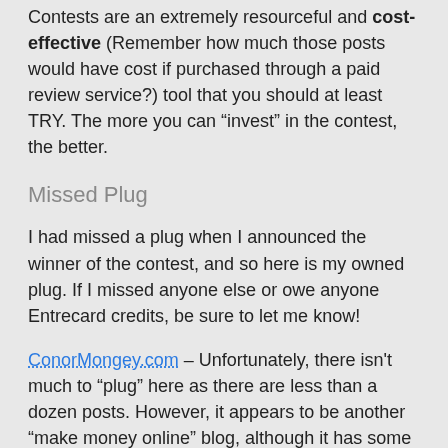Contests are an extremely resourceful and cost-effective (Remember how much those posts would have cost if purchased through a paid review service?) tool that you should at least TRY. The more you can “invest” in the contest, the better.
Missed Plug
I had missed a plug when I announced the winner of the contest, and so here is my owned plug. If I missed anyone else or owe anyone Entrecard credits, be sure to let me know!
ConorMongey.com – Unfortunately, there isn’t much to “plug” here as there are less than a dozen posts. However, it appears to be another “make money online” blog, although it has some personal school-related posts as well.